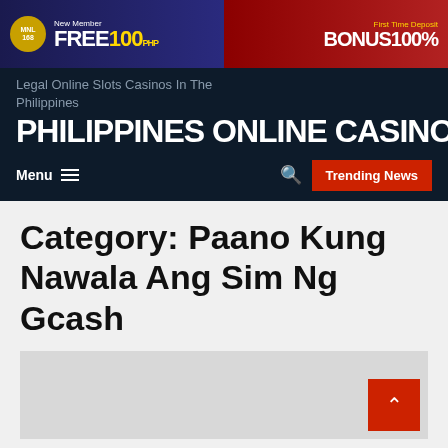[Figure (other): Casino banner advertisement: New Member FREE 100 PHP on left, First Time Deposit BONUS 100% on right, MNL168 logo]
Legal Online Slots Casinos In The Philippines
PHILIPPINES ONLINE CASINO
Menu  [hamburger]  [search]  Trending News
Category: Paano Kung Nawala Ang Sim Ng Gcash
[Figure (other): Article card placeholder image, gray background with red back-to-top arrow button in bottom right corner]